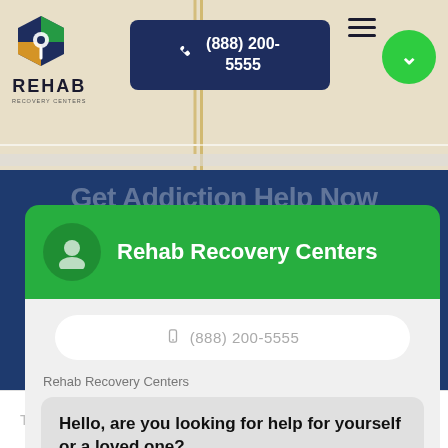[Figure (screenshot): Map background showing Five Points area with beige/tan roads]
REHAB RECOVERY CENTERS
(888) 200-5555
[Figure (logo): Rehab Recovery Centers logo with pentagon/location pin icon in navy, green, and orange]
FIVE POINTS
Get Addiction Help Now
Enter ZIP, State, or City
Search
Rehab Recovery Centers
(888) 200-5555
Rehab Recovery Centers
Hello, are you looking for help for yourself or a loved one?
Enter Your City
Choose State
EXPLORE
Type your message and hit Enter